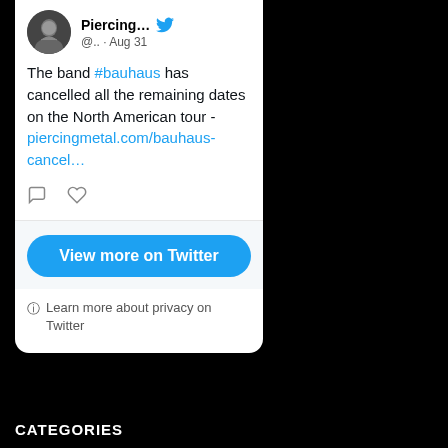[Figure (screenshot): Twitter/X tweet card showing a user named 'Piercing...' with handle '@..' posted on Aug 31, with a Twitter bird icon. Avatar shows a person in dark clothing. Tweet text: 'The band #bauhaus has cancelled all the remaining dates on the North American tour - piercingmetal.com/bauhaus-cancel...' with comment and like icons below. Below a divider is a 'View more on Twitter' button and a privacy notice.]
CATEGORIES